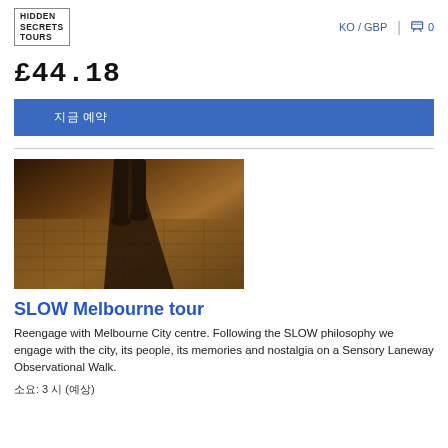HIDDEN SECRETS TOURS | KO / GBP | 0
£44.18
지금 예약
[Figure (photo): Dark silhouette photo of a person's legs and shadow cast on stone pavement/laneway, warm amber tones]
SLOW Melbourne tour
Reengage with Melbourne City centre. Following the SLOW philosophy we engage with the city, its people, its memories and nostalgia on a Sensory Laneway Observational Walk.
소요: 3 시 (예상)